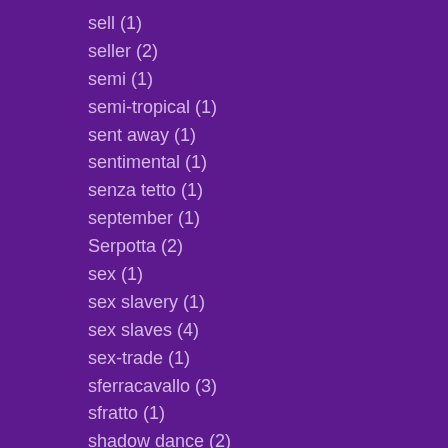sell (1)
seller (2)
semi (1)
semi-tropical (1)
sent away (1)
sentimental (1)
senza tetto (1)
september (1)
Serpotta (2)
sex (1)
sex slavery (1)
sex slaves (4)
sex-trade (1)
sferracavallo (3)
sfratto (1)
shadow dance (2)
shady deals (1)
sham (1)
sharing (1)